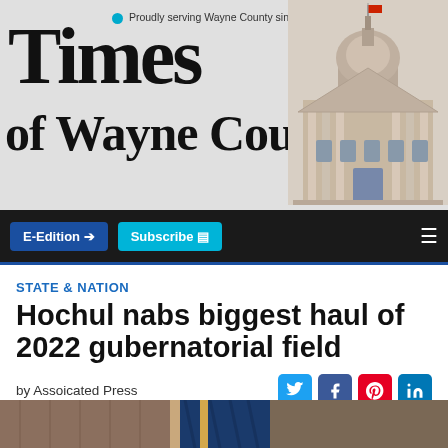Times of Wayne County — Proudly serving Wayne County since 1989
[Figure (screenshot): Navigation bar with E-Edition and Subscribe buttons on dark background]
STATE & NATION
Hochul nabs biggest haul of 2022 gubernatorial field
by Assoicated Press
[Figure (photo): Close-up photo of flags or fabric in blue and gold colors against a blurred background]